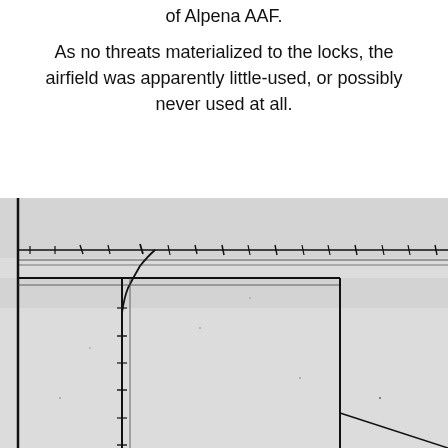of Alpena AAF.
As no threats materialized to the locks, the airfield was apparently little-used, or possibly never used at all.
[Figure (other): Black and white aerial or engineering map/diagram showing runway or road lines with tick marks, intersecting at right angles, with a curved connector. Appears to be a vintage military airfield layout plan or survey map.]